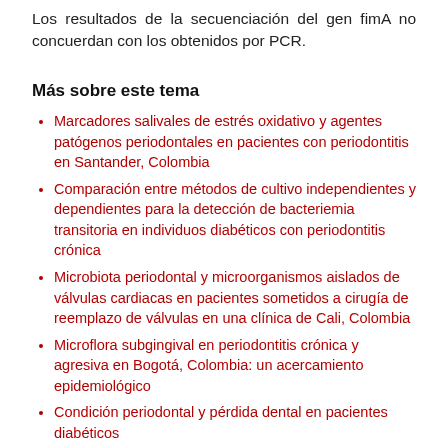Los resultados de la secuenciación del gen fimA no concuerdan con los obtenidos por PCR.
Más sobre este tema
Marcadores salivales de estrés oxidativo y agentes patógenos periodontales en pacientes con periodontitis en Santander, Colombia
Comparación entre métodos de cultivo independientes y dependientes para la detección de bacteriemia transitoria en individuos diabéticos con periodontitis crónica
Microbiota periodontal y microorganismos aislados de válvulas cardiacas en pacientes sometidos a cirugía de reemplazo de válvulas en una clínica de Cali, Colombia
Microflora subgingival en periodontitis crónica y agresiva en Bogotá, Colombia: un acercamiento epidemiológico
Condición periodontal y pérdida dental en pacientes diabéticos
Bacilos Gram negativos entéricos y no fermentadores